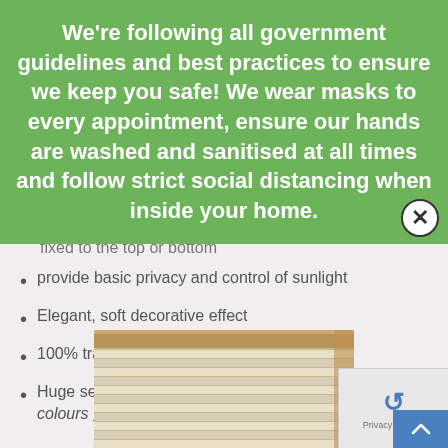We're following all government guidelines and best practices to ensure we keep you safe! We wear masks to every appointment, ensure our hands are washed and sanitised at all times and follow strict social distancing when inside your home.
fixed to the top or bottom
provide basic privacy and control of sunlight
Elegant, soft decorative effect
100% transparent cloth
Huge selection of colours and patterns – View pleated colours here
[Figure (photo): Close-up photo of a pleated window blind with wooden frame, showing horizontal pleated fabric slats]